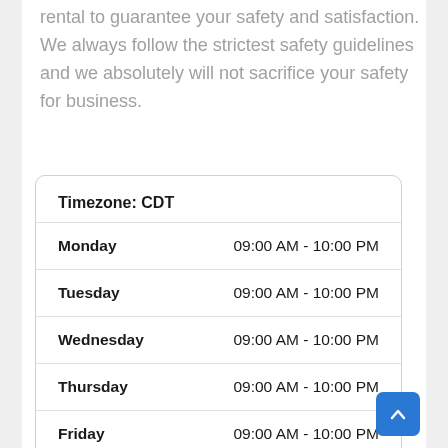rental to guarantee your safety and satisfaction. We always follow the strictest safety guidelines and we absolutely will not sacrifice your safety for business.
| Day | Hours |
| --- | --- |
| Monday | 09:00 AM - 10:00 PM |
| Tuesday | 09:00 AM - 10:00 PM |
| Wednesday | 09:00 AM - 10:00 PM |
| Thursday | 09:00 AM - 10:00 PM |
| Friday | 09:00 AM - 10:00 PM |
| Saturday | 09:00 AM - 10:00 PM |
| Sunday | 09:00 AM - 10:00 PM |